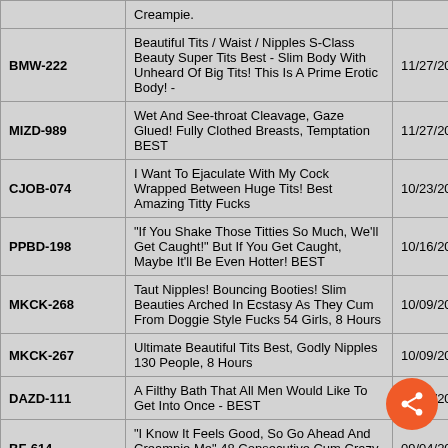| Code | Title | Date |
| --- | --- | --- |
|  | Creampie. |  |
| BMW-222 | Beautiful Tits / Waist / Nipples S-Class Beauty Super Tits Best - Slim Body With Unheard Of Big Tits! This Is A Prime Erotic Body! - | 11/27/2020 |
| MIZD-989 | Wet And See-throat Cleavage, Gaze Glued! Fully Clothed Breasts, Temptation BEST | 11/27/2020 |
| CJOB-074 | I Want To Ejaculate With My Cock Wrapped Between Huge Tits! Best Amazing Titty Fucks | 10/23/2020 |
| PPBD-198 | "If You Shake Those Titties So Much, We'll Get Caught!" But If You Get Caught, Maybe It'll Be Even Hotter! BEST | 10/16/2020 |
| MKCK-268 | Taut Nipples! Bouncing Booties! Slim Beauties Arched In Ecstasy As They Cum From Doggie Style Fucks 54 Girls, 8 Hours | 10/09/2020 |
| MKCK-267 | Ultimate Beautiful Tits Best, Godly Nipples 130 People, 8 Hours | 10/09/2020 |
| DAZD-111 | A Filthy Bath That All Men Would Like To Get Into Once - BEST | 10/09/2020 |
| BF-614 | "I Know It Feels Good, So Go Ahead And Creampie Me" 48 Consecutive Cum Crazy Deep Pussy Ejaculations! 8 Hours | 09/04/2020 |
|  | I Can't Stop Cumming! Even If I Blow On It It... |  |